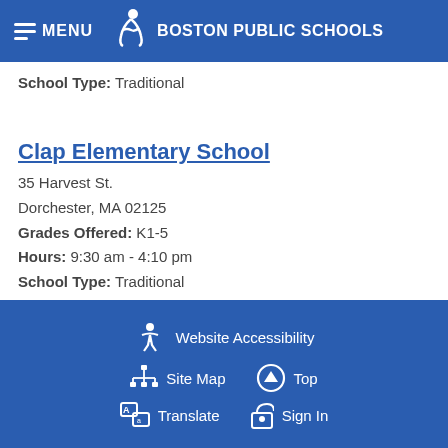MENU  BOSTON PUBLIC SCHOOLS
School Type: Traditional
Clap Elementary School
35 Harvest St.
Dorchester, MA 02125
Grades Offered: K1-5
Hours: 9:30 am - 4:10 pm
School Type: Traditional
Website Accessibility  Site Map  Top  Translate  Sign In